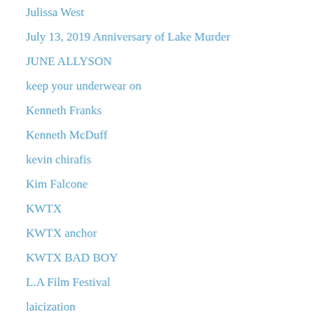Julissa West
July 13, 2019 Anniversary of Lake Murder
JUNE ALLYSON
keep your underwear on
Kenneth Franks
Kenneth McDuff
kevin chirafis
Kim Falcone
KWTX
KWTX anchor
KWTX BAD BOY
L.A Film Festival
laicization
Laiczation